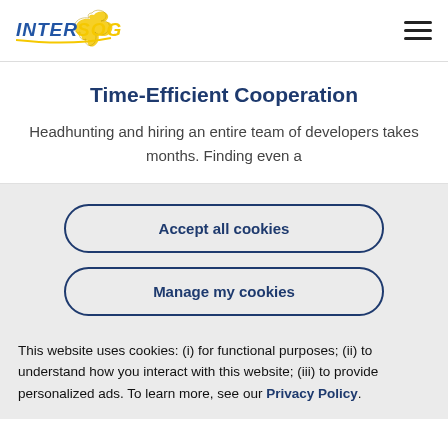[Figure (logo): INTERSOG company logo with stylized horse figure and blue/yellow text]
Time-Efficient Cooperation
Headhunting and hiring an entire team of developers takes months. Finding even a
Accept all cookies
Manage my cookies
This website uses cookies: (i) for functional purposes; (ii) to understand how you interact with this website; (iii) to provide personalized ads. To learn more, see our Privacy Policy.